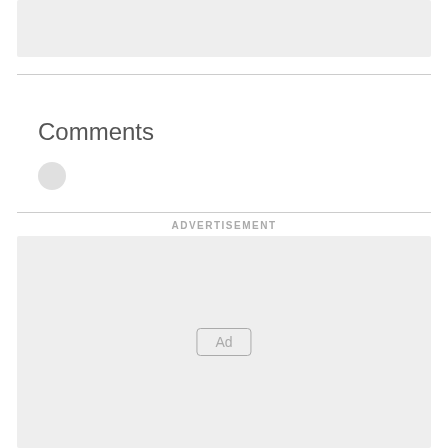[Figure (other): Gray placeholder box at top of page]
Comments
[Figure (other): Small circular avatar placeholder]
ADVERTISEMENT
[Figure (other): Advertisement placeholder box with Ad button]